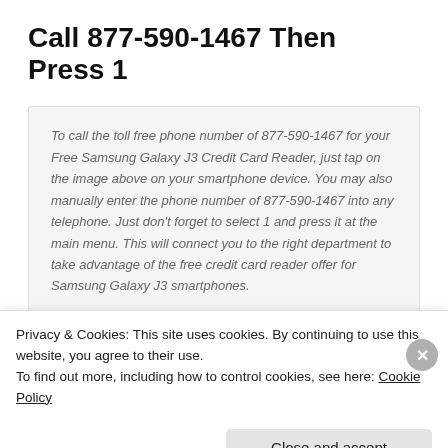Call 877-590-1467 Then Press 1
To call the toll free phone number of 877-590-1467 for your Free Samsung Galaxy J3 Credit Card Reader, just tap on the image above on your smartphone device. You may also manually enter the phone number of 877-590-1467 into any telephone. Just don't forget to select 1 and press it at the main menu. This will connect you to the right department to take advantage of the free credit card reader offer for Samsung Galaxy J3 smartphones.
For Rates and Fees Click Here
Privacy & Cookies: This site uses cookies. By continuing to use this website, you agree to their use.
To find out more, including how to control cookies, see here: Cookie Policy
Close and accept